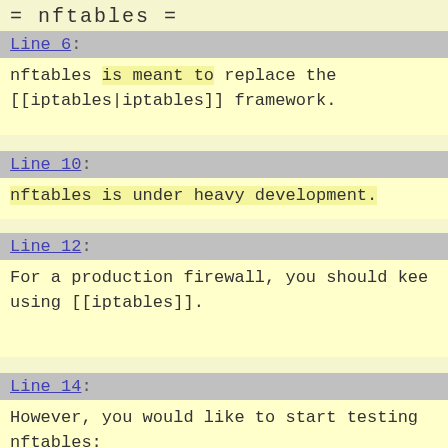= nftables =
Line 6:
nftables is meant to replace the [[iptables|iptables]] framework.
Line 10:
nftables is under heavy development.
Line 12:
For a production firewall, you should keep using [[iptables]].
Line 14:
However, you would like to start testing nftables: